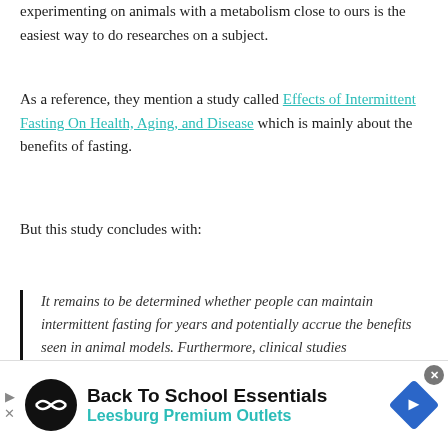experimenting on animals with a metabolism close to ours is the easiest way to do researches on a subject.
As a reference, they mention a study called Effects of Intermittent Fasting On Health, Aging, and Disease which is mainly about the benefits of fasting.
But this study concludes with:
It remains to be determined whether people can maintain intermittent fasting for years and potentially accrue the benefits seen in animal models. Furthermore, clinical studies
[Figure (other): Advertisement banner for Leesburg Premium Outlets - Back To School Essentials]